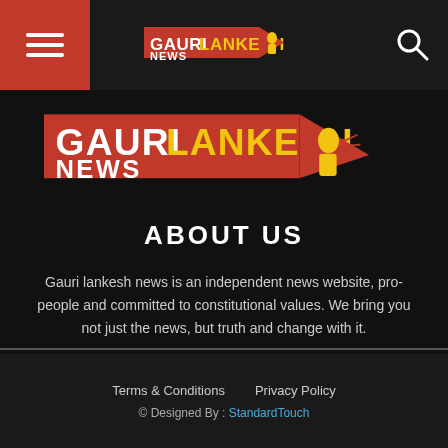Gauri Lankesh News - navigation bar with menu button, logo, and search icon
[Figure (logo): Gauri Lankesh News banner logo with red background, white and yellow text, and illustrated figure with megaphone]
ABOUT US
Gauri lankesh news is an independent news website, pro-people and committed to constitutional values. We bring you not just the news, but truth and change with it.
Contact us: gaurilankeshnews@gmail.com
Terms & Conditions  Privacy Policy  © Designed By : StandardTouch